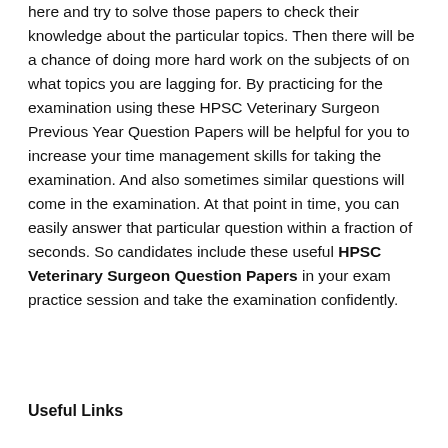here and try to solve those papers to check their knowledge about the particular topics. Then there will be a chance of doing more hard work on the subjects of on what topics you are lagging for. By practicing for the examination using these HPSC Veterinary Surgeon Previous Year Question Papers will be helpful for you to increase your time management skills for taking the examination. And also sometimes similar questions will come in the examination. At that point in time, you can easily answer that particular question within a fraction of seconds. So candidates include these useful HPSC Veterinary Surgeon Question Papers in your exam practice session and take the examination confidently.
Useful Links